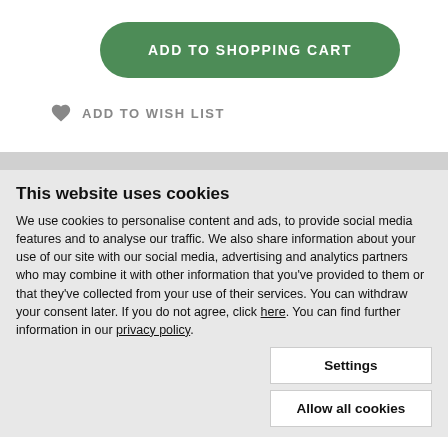[Figure (other): Green rounded button labeled ADD TO SHOPPING CART]
♥ ADD TO WISH LIST
This website uses cookies
We use cookies to personalise content and ads, to provide social media features and to analyse our traffic. We also share information about your use of our site with our social media, advertising and analytics partners who may combine it with other information that you've provided to them or that they've collected from your use of their services. You can withdraw your consent later. If you do not agree, click here. You can find further information in our privacy policy.
Settings
Allow all cookies